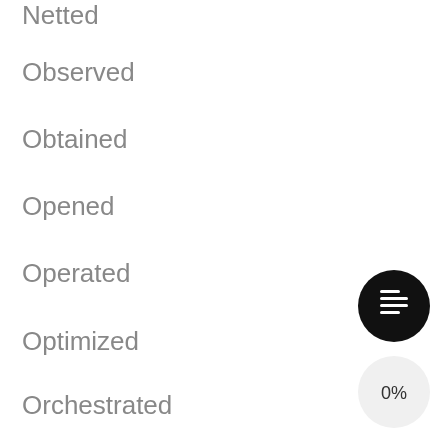Netted
Observed
Obtained
Opened
Operated
Optimized
Orchestrated
Ordered
[Figure (other): Black circular button with a document/list icon (lines icon) and a light circular badge showing '0%']